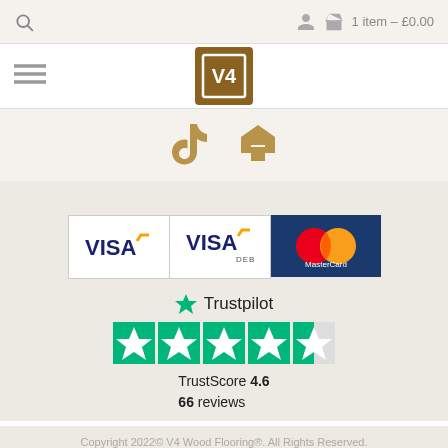1 item – £0.00
[Figure (logo): V4 Wood Flooring logo - brown square with V4 text]
[Figure (illustration): Social media icons: TikTok and Houzz in golden/brown color]
[Figure (illustration): Payment icons: VISA, VISA DEBIT, MasterCard]
[Figure (illustration): Trustpilot logo with 4.5 star rating, TrustScore 4.6, 66 reviews]
Copyright 2022© V4 Wood Flooring®. All Rights Reserved.